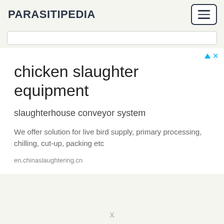PARASITIPEDIA
[Figure (other): Hamburger menu button with three horizontal lines inside a rounded rectangle border]
[Figure (other): Search input bar, empty, white background with light border]
[Figure (other): Ad indicator icons: triangle and X in cyan/blue]
chicken slaughter equipment
slaughterhouse conveyor system
We offer solution for live bird supply, primary processing, chilling, cut-up, packing etc
en.chinaslaughtering.cn